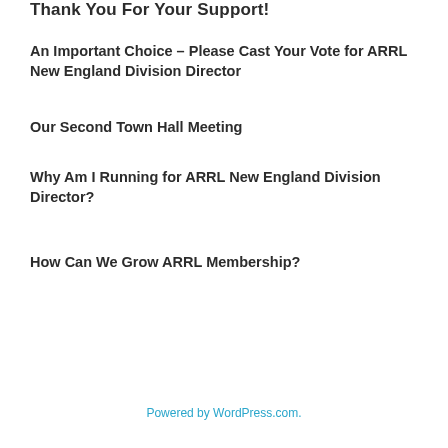Thank You For Your Support!
An Important Choice – Please Cast Your Vote for ARRL New England Division Director
Our Second Town Hall Meeting
Why Am I Running for ARRL New England Division Director?
How Can We Grow ARRL Membership?
Powered by WordPress.com.